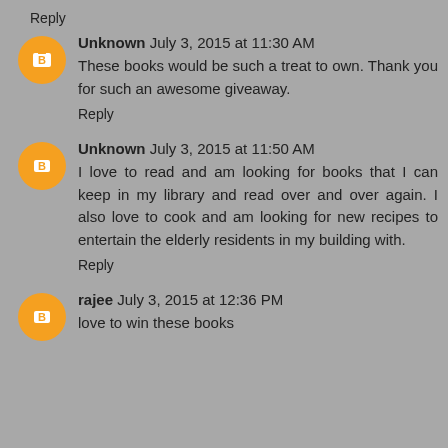Reply
Unknown  July 3, 2015 at 11:30 AM
These books would be such a treat to own. Thank you for such an awesome giveaway.
Reply
Unknown  July 3, 2015 at 11:50 AM
I love to read and am looking for books that I can keep in my library and read over and over again. I also love to cook and am looking for new recipes to entertain the elderly residents in my building with.
Reply
rajee  July 3, 2015 at 12:36 PM
love to win these books